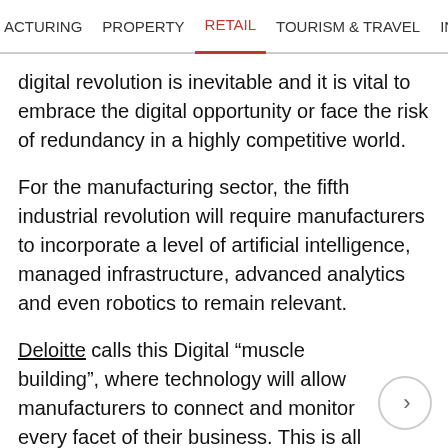ACTURING   PROPERTY   RETAIL   TOURISM & TRAVEL   INTERNATIONAL
digital revolution is inevitable and it is vital to embrace the digital opportunity or face the risk of redundancy in a highly competitive world.
For the manufacturing sector, the fifth industrial revolution will require manufacturers to incorporate a level of artificial intelligence, managed infrastructure, advanced analytics and even robotics to remain relevant.
Deloitte calls this Digital “muscle building”, where technology will allow manufacturers to connect and monitor every facet of their business. This is all while their ability to flex production, delivery, and customer support continues to be important.